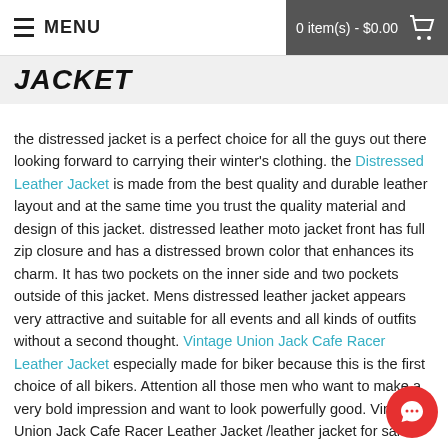MENU   0 item(s) - $0.00
JACKET
the distressed jacket is a perfect choice for all the guys out there looking forward to carrying their winter's clothing. the Distressed Leather Jacket is made from the best quality and durable leather layout and at the same time you trust the quality material and design of this jacket. distressed leather moto jacket front has full zip closure and has a distressed brown color that enhances its charm. It has two pockets on the inner side and two pockets outside of this jacket. Mens distressed leather jacket appears very attractive and suitable for all events and all kinds of outfits without a second thought. Vintage Union Jack Cafe Racer Leather Jacket especially made for biker because this is the first choice of all bikers. Attention all those men who want to make a very bold impression and want to look powerfully good. Vintage Union Jack Cafe Racer Leather Jacket /leather jacket for sale provide the big chance to personify your look.